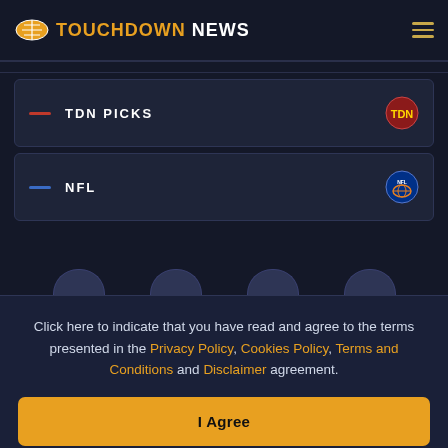TOUCHDOWN NEWS
TDN PICKS
NFL
Click here to indicate that you have read and agree to the terms presented in the Privacy Policy, Cookies Policy, Terms and Conditions and Disclaimer agreement.
I Agree